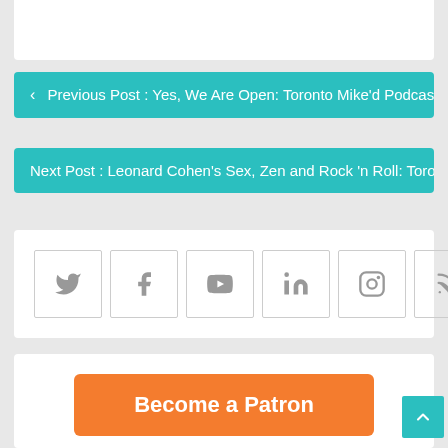< Previous Post : Yes, We Are Open: Toronto Mike'd Podcast E...
Next Post : Leonard Cohen's Sex, Zen and Rock 'n Roll: Toronto...
[Figure (infographic): Social media icon buttons: Twitter, Facebook, YouTube, LinkedIn, Instagram, RSS, Email]
Become a Patron